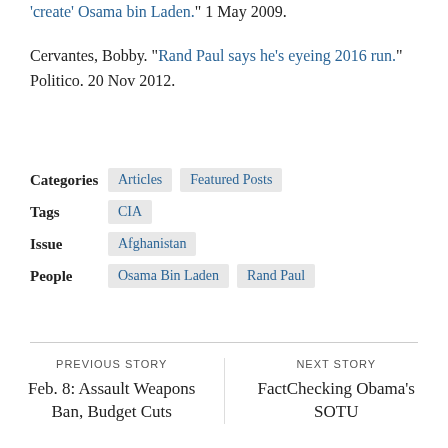'create' Osama bin Laden." 1 May 2009.
Cervantes, Bobby. "Rand Paul says he's eyeing 2016 run." Politico. 20 Nov 2012.
Categories   Articles   Featured Posts
Tags   CIA
Issue   Afghanistan
People   Osama Bin Laden   Rand Paul
PREVIOUS STORY
Feb. 8: Assault Weapons Ban, Budget Cuts
NEXT STORY
FactChecking Obama's SOTU